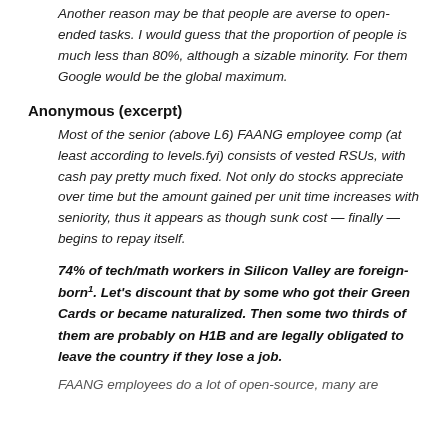Another reason may be that people are averse to open-ended tasks. I would guess that the proportion of people is much less than 80%, although a sizable minority. For them Google would be the global maximum.
Anonymous (excerpt)
Most of the senior (above L6) FAANG employee comp (at least according to levels.fyi) consists of vested RSUs, with cash pay pretty much fixed. Not only do stocks appreciate over time but the amount gained per unit time increases with seniority, thus it appears as though sunk cost — finally — begins to repay itself.
74% of tech/math workers in Silicon Valley are foreign-born¹. Let's discount that by some who got their Green Cards or became naturalized. Then some two thirds of them are probably on H1B and are legally obligated to leave the country if they lose a job.
FAANG employees do a lot of open-source, many are